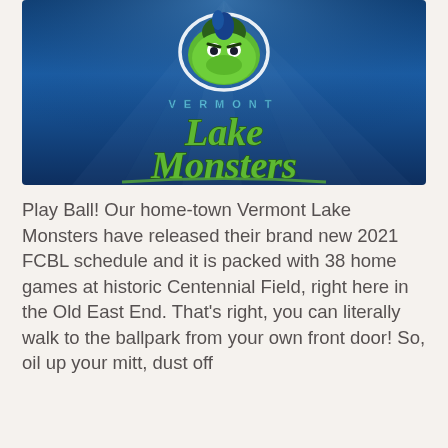[Figure (logo): Vermont Lake Monsters logo on a dark blue underwater background. A green cartoon frog mascot at top center, 'VERMONT' spelled out in spaced teal letters beneath, and 'Lake Monsters' in large green script lettering below that.]
Play Ball! Our home-town Vermont Lake Monsters have released their brand new 2021 FCBL schedule and it is packed with 38 home games at historic Centennial Field, right here in the Old East End. That's right, you can literally walk to the ballpark from your own front door! So, oil up your mitt, dust off